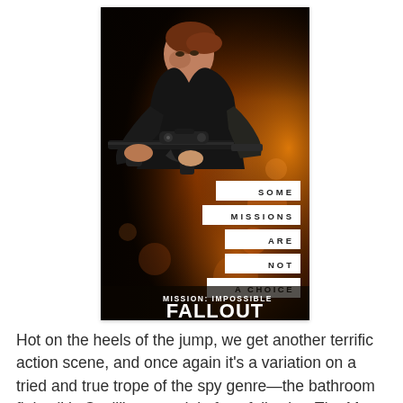[Figure (photo): Movie poster for Mission: Impossible – Fallout showing a woman in black tactical gear aiming a rifle. White text bars on right side read: SOME MISSIONS ARE NOT A CHOICE. Bottom text reads MISSION: IMPOSSIBLE FALLOUT JULY 27.]
Hot on the heels of the jump, we get another terrific action scene, and once again it's a variation on a tried and true trope of the spy genre—the bathroom fight. (It's Cavill's second, in fact, following The Man From U.N.C.L.E.) But